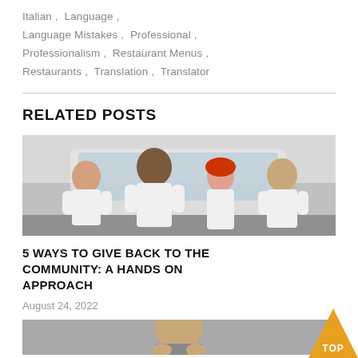Italian , Language , Language Mistakes , Professional , Professionalism , Restaurant Menus , Restaurants , Translation , Translator
RELATED POSTS
[Figure (photo): Four people in white t-shirts standing in front of a white van, smiling at the camera.]
5 WAYS TO GIVE BACK TO THE COMMUNITY: A HANDS ON APPROACH
August 24, 2022
[Figure (photo): Partial view of a person, bottom portion of page.]